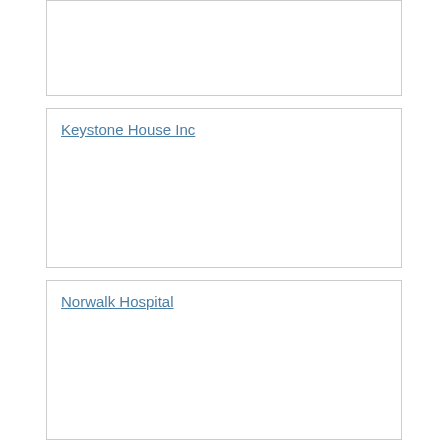Keystone House Inc
Norwalk Hospital
Family and Childrens Agency Inc
Connecticut Counseling Center Inc
Connecticut Counseling Centers Inc